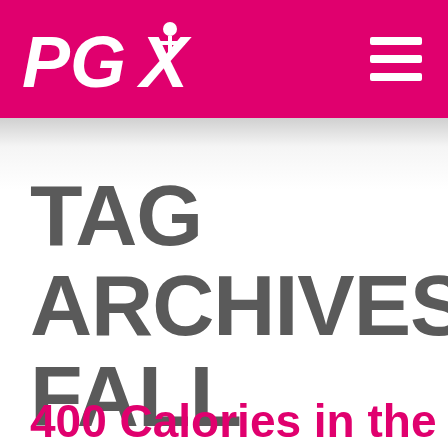PGX
TAG ARCHIVES: FALL FOODS
400 Calories in the